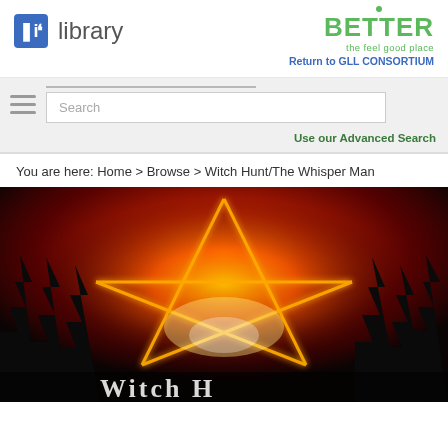ulibrary | BETTER the feel good place | Return to GLL CONSORTIUM
Search
Use our Advanced Search
You are here: Home > Browse > Witch Hunt/The Whisper Man
[Figure (photo): Book cover for Witch Hunt/The Whisper Man showing a burning pentagram star over dark forest silhouettes with fiery red sky, title text visible at bottom]